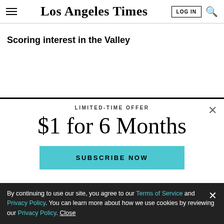Los Angeles Times
Scoring interest in the Valley
LIMITED-TIME OFFER
$1 for 6 Months
SUBSCRIBE NOW
By continuing to use our site, you agree to our Terms of Service and Privacy Policy. You can learn more about how we use cookies by reviewing our Privacy Policy. Close